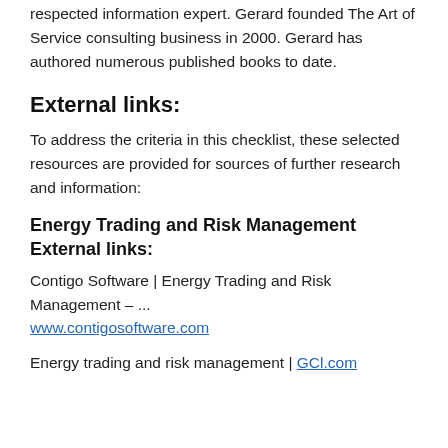respected information expert. Gerard founded The Art of Service consulting business in 2000. Gerard has authored numerous published books to date.
External links:
To address the criteria in this checklist, these selected resources are provided for sources of further research and information:
Energy Trading and Risk Management External links:
Contigo Software | Energy Trading and Risk Management – ...
www.contigosoftware.com
Energy trading and risk management | GCl.com